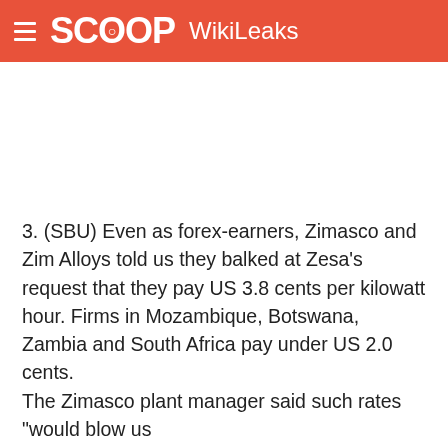SCOOP WikiLeaks
3. (SBU) Even as forex-earners, Zimasco and Zim Alloys told us they balked at Zesa's request that they pay US 3.8 cents per kilowatt hour. Firms in Mozambique, Botswana, Zambia and South Africa pay under US 2.0 cents.
The Zimasco plant manager said such rates "would blow us
right out of the water." Both miners could swallow a tariff equivalent to that in neighboring countries, a 5-